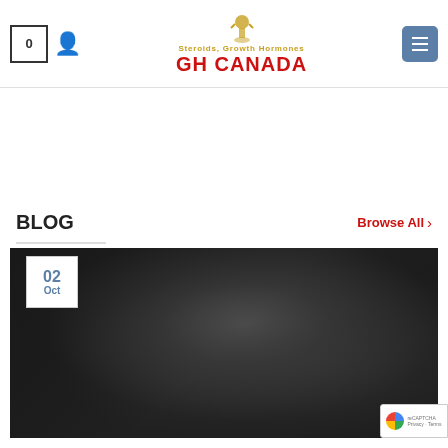[Figure (logo): GH Canada logo with golden trophy figure, red bold text 'GH CANADA', subtitle 'Steroids, Growth Hormones']
SARMS
Stenabolic SR9009
$75.00
ADD TO CART
SARMS
Andarine S4
$60.00
ADD TO CART
BLOG
Browse All >
[Figure (photo): Dark grayscale photo of muscular figure, blog post thumbnail]
02 Oct